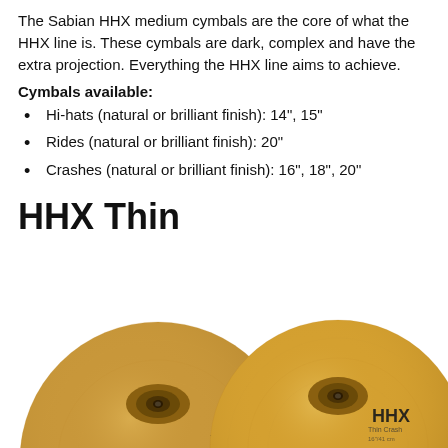The Sabian HHX medium cymbals are the core of what the HHX line is. These cymbals are dark, complex and have the extra projection. Everything the HHX line aims to achieve.
Cymbals available:
Hi-hats (natural or brilliant finish): 14", 15"
Rides (natural or brilliant finish): 20"
Crashes (natural or brilliant finish): 16", 18", 20"
HHX Thin
[Figure (photo): Two Sabian HHX cymbals (thin crashes) with brilliant finish, showing the bell and body of each cymbal side by side. Left cymbal partially cut off at edge, right cymbal showing HHX branding text.]